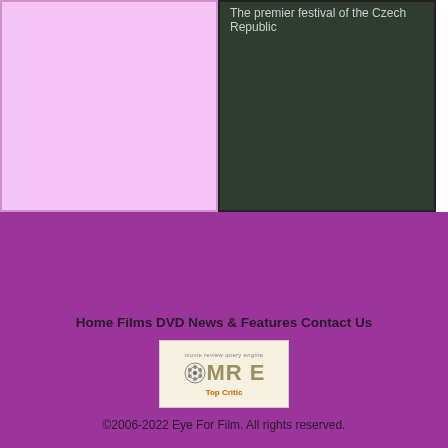[Figure (other): Pink/lavender colored rectangular box with border]
The premier festival of the Czech Republic
Home Films DVD News & Features Contact Us
[Figure (logo): Movie Review Query Engine (MRQE) Top Critic badge logo with film reel graphic]
©2006-2022 Eye For Film. All rights reserved.